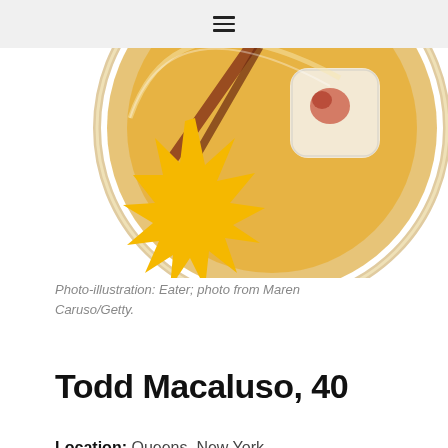≡
[Figure (illustration): Top-down view of a cocktail glass with amber liquid, ice, and a cinnamon stick garnish, overlaid with a yellow spiky sun shape in the lower left.]
Photo-illustration: Eater; photo from Maren Caruso/Getty.
Todd Macaluso, 40
Location: Queens, New York